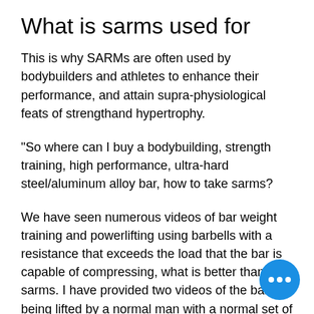What is sarms used for
This is why SARMs are often used by bodybuilders and athletes to enhance their performance, and attain supra-physiological feats of strengthand hypertrophy.
"So where can I buy a bodybuilding, strength training, high performance, ultra-hard steel/aluminum alloy bar, how to take sarms?
We have seen numerous videos of bar weight training and powerlifting using barbells with a resistance that exceeds the load that the bar is capable of compressing, what is better than sarms. I have provided two videos of the bar being lifted by a normal man with a normal set of weights, sarms used for what. Both videos are shown about 45 seconds into the video, at which